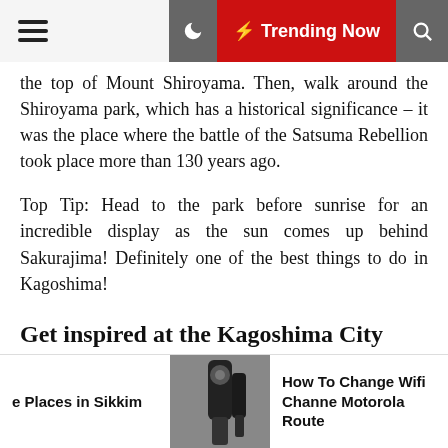☰ ☽ ⚡ Trending Now 🔍
the top of Mount Shiroyama. Then, walk around the Shiroyama park, which has a historical significance – it was the place where the battle of the Satsuma Rebellion took place more than 130 years ago.
Top Tip: Head to the park before sunrise for an incredible display as the sun comes up behind Sakurajima! Definitely one of the best things to do in Kagoshima!
Get inspired at the Kagoshima City Museum of Art
To get your daily dose of culture, make sure to stop by the small Kagoshima City Museum of Art. There you will find a collection of breathtaking Western-style works by the local artists.
[partial line cut off]
e Places in Sikkim    [image]    How To Change Wifi Channe Motorola Route